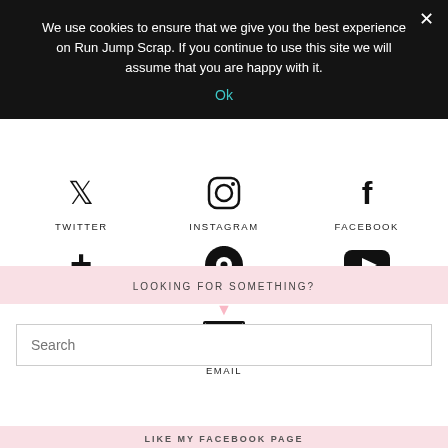We use cookies to ensure that we give you the best experience on Run Jump Scrap. If you continue to use this site we will assume that you are happy with it.
Ok
TWITTER
INSTAGRAM
FACEBOOK
BLOGLOVIN
PINTEREST
YOUTUBE
EMAIL
LOOKING FOR SOMETHING?
Search
LIKE MY FACEBOOK PAGE